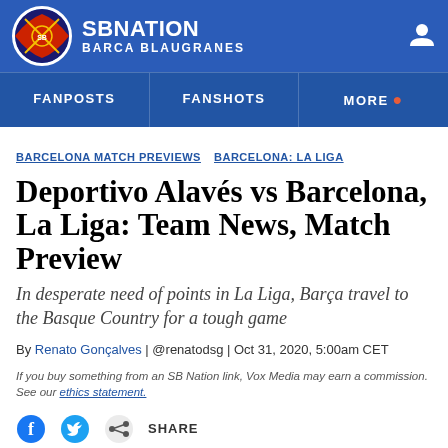SB Nation Barca Blaugranes
FANPOSTS   FANSHOTS   MORE
BARCELONA MATCH PREVIEWS  BARCELONA: LA LIGA
Deportivo Alavés vs Barcelona, La Liga: Team News, Match Preview
In desperate need of points in La Liga, Barça travel to the Basque Country for a tough game
By Renato Gonçalves | @renatodsg | Oct 31, 2020, 5:00am CET
If you buy something from an SB Nation link, Vox Media may earn a commission. See our ethics statement.